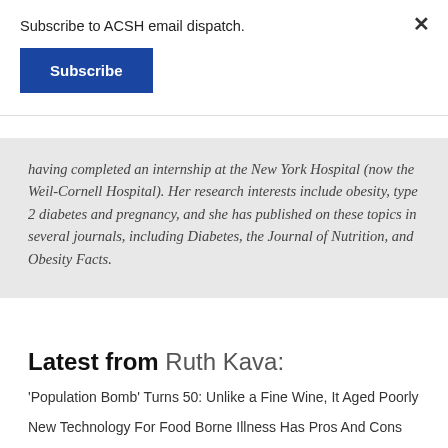Subscribe to ACSH email dispatch.
Subscribe
having completed an internship at the New York Hospital (now the Weil-Cornell Hospital). Her research interests include obesity, type 2 diabetes and pregnancy, and she has published on these topics in several journals, including Diabetes, the Journal of Nutrition, and Obesity Facts.
Latest from Ruth Kava:
'Population Bomb' Turns 50: Unlike a Fine Wine, It Aged Poorly
New Technology For Food Borne Illness Has Pros And Cons